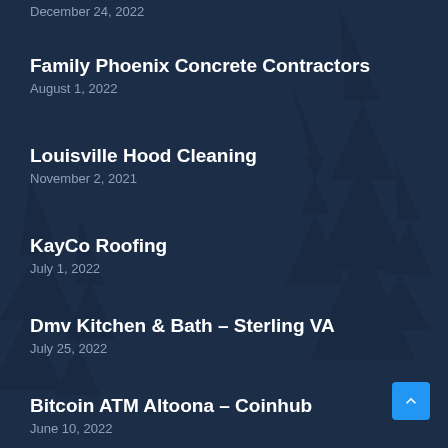December 24, 2022
Family Phoenix Concrete Contractors
August 1, 2022
Louisville Hood Cleaning
November 2, 2021
KayCo Roofing
July 1, 2022
Dmv Kitchen & Bath – Sterling VA
July 25, 2022
Bitcoin ATM Altoona – Coinhub
June 10, 2022